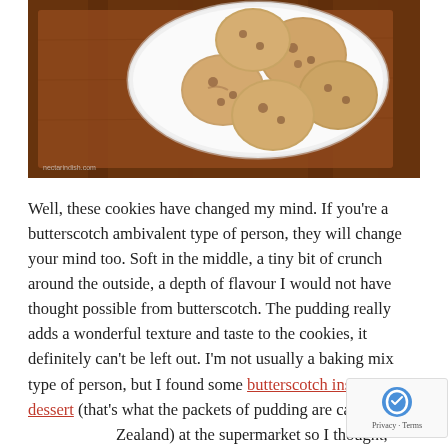[Figure (photo): Overhead photo of chocolate chip cookies on a white plate placed on a dark wooden cutting board/table]
Well, these cookies have changed my mind. If you're a butterscotch ambivalent type of person, they will change your mind too. Soft in the middle, a tiny bit of crunch around the outside, a depth of flavour I would not have thought possible from butterscotch. The pudding really adds a wonderful texture and taste to the cookies, it definitely can't be left out. I'm not usually a baking mix type of person, but I found some butterscotch instant dessert (that's what the packets of pudding are called in New Zealand) at the supermarket so I thought, why not? These cookies have really changed my opinion about using pudding AND butterscotch. So please, give these a try!